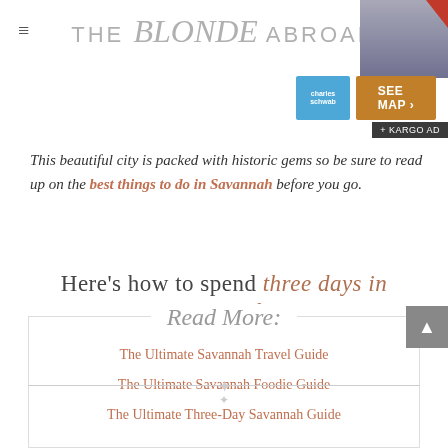THE Blonde ABROAD
[Figure (photo): Advertisement overlay in top-right corner with a person photo, 'SEE MAP' button in orange, Charles Schwab logo in blue, and Kargo ad label]
This beautiful city is packed with historic gems so be sure to read up on the best things to do in Savannah before you go.
Here's how to spend three days in Savannah!
Read More:
The Ultimate Savannah Travel Guide
The Ultimate Savannah Foodie Guide
The Ultimate Three-Day Savannah Guide